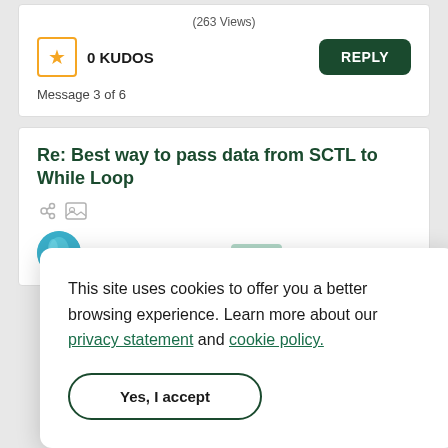(263 Views)
0 KUDOS
REPLY
Message 3 of 6
Re: Best way to pass data from SCTL to While Loop
LotsaMotsa
Author
Options
This site uses cookies to offer you a better browsing experience. Learn more about our privacy statement and cookie policy.
Yes, I accept